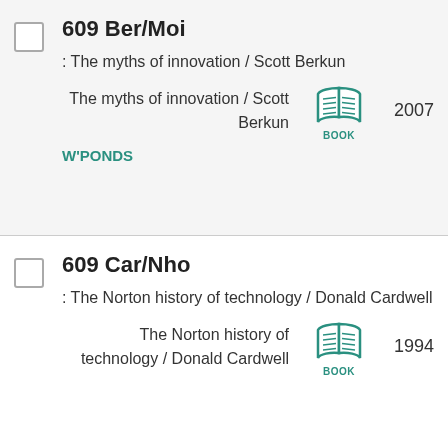609 Ber/Moi
: The myths of innovation / Scott Berkun
The myths of innovation / Scott Berkun
W'PONDS
BOOK
2007
609 Car/Nho
: The Norton history of technology / Donald Cardwell
The Norton history of technology / Donald Cardwell
BOOK
1994